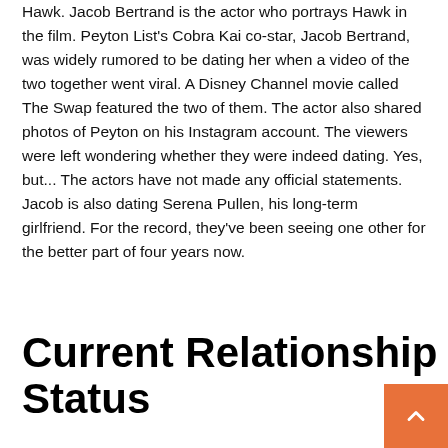Hawk. Jacob Bertrand is the actor who portrays Hawk in the film. Peyton List's Cobra Kai co-star, Jacob Bertrand, was widely rumored to be dating her when a video of the two together went viral. A Disney Channel movie called The Swap featured the two of them. The actor also shared photos of Peyton on his Instagram account. The viewers were left wondering whether they were indeed dating. Yes, but... The actors have not made any official statements. Jacob is also dating Serena Pullen, his long-term girlfriend. For the record, they've been seeing one other for the better part of four years now.
Current Relationship Status